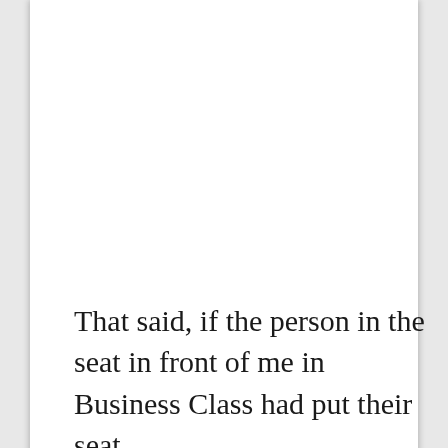That said, if the person in the seat in front of me in Business Class had put their seat
We use cookies on our website to give you the most relevant experience by remembering your preferences and repeat visits. By clicking “Accept”, you consent to the use of ALL the cookies.
[Figure (photo): Advertisement banner with dark forest/jungle background showing a frog on a leaf. Text reads: 'Just $2 can protect 1 acre of irreplaceable forest homes in the Amazon. How many acres are you willing to protect?' with a green 'PROTECT FORESTS NOW' button.]